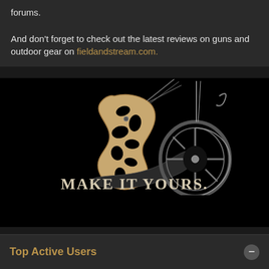forums.

And don't forget to check out the latest reviews on guns and outdoor gear on fieldandstream.com.
[Figure (photo): Advertisement for a compound bow on a black background, with the tagline 'MAKE IT YOURS.' in large serif text. The bow is shown with gold/bronze riser cutouts and dark cams against a black background.]
Top Active Users